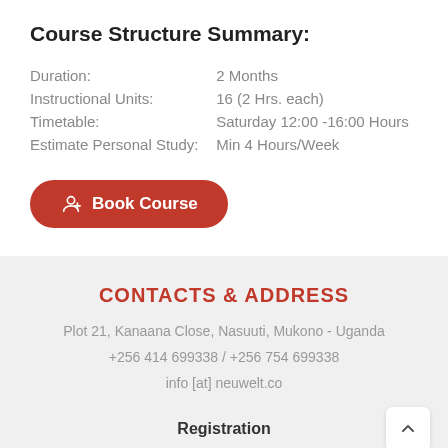Course Structure Summary:
|  |  |
| --- | --- |
| Duration: | 2 Months |
| Instructional Units: | 16 (2 Hrs. each) |
| Timetable: | Saturday 12:00 -16:00 Hours |
| Estimate Personal Study: | Min 4 Hours/Week |
Book Course
CONTACTS & ADDRESS
Plot 21, Kanaana Close, Nasuuti, Mukono - Uganda
+256 414 699338 / +256 754 699338
info [at] neuwelt.co
Registration